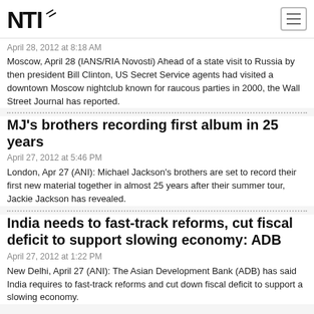NTI logo and navigation
April 28, 2012 at 8:18 AM
Moscow, April 28 (IANS/RIA Novosti) Ahead of a state visit to Russia by then president Bill Clinton, US Secret Service agents had visited a downtown Moscow nightclub known for raucous parties in 2000, the Wall Street Journal has reported.
MJ's brothers recording first album in 25 years
April 27, 2012 at 5:46 PM
London, Apr 27 (ANI): Michael Jackson's brothers are set to record their first new material together in almost 25 years after their summer tour, Jackie Jackson has revealed.
India needs to fast-track reforms, cut fiscal deficit to support slowing economy: ADB
April 27, 2012 at 1:22 PM
New Delhi, April 27 (ANI): The Asian Development Bank (ADB) has said India requires to fast-track reforms and cut down fiscal deficit to support a slowing economy.